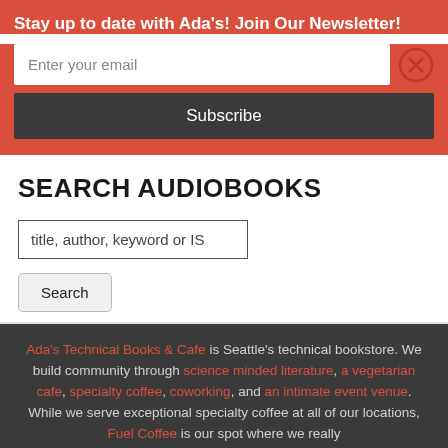Stay up to date with Ada's! Join Our Newsletter!
Enter your email
Subscribe
SEARCH AUDIOBOOKS
title, author, keyword or IS
Search
Ada's Technical Books & Cafe is Seattle's technical bookstore. We build community through science minded literature, a vegetarian cafe, specialty coffee, coworking, and an intimate event venue. While we serve exceptional specialty coffee at all of our locations, Fuel Coffee is our spot where we really